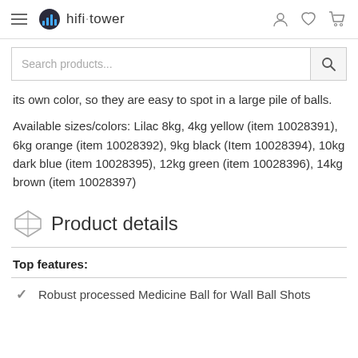hifi·tower
its own color, so they are easy to spot in a large pile of balls.
Available sizes/colors: Lilac 8kg, 4kg yellow (item 10028391), 6kg orange (item 10028392), 9kg black (Item 10028394), 10kg dark blue (item 10028395), 12kg green (item 10028396), 14kg brown (item 10028397)
Product details
Top features:
Robust processed Medicine Ball for Wall Ball Shots